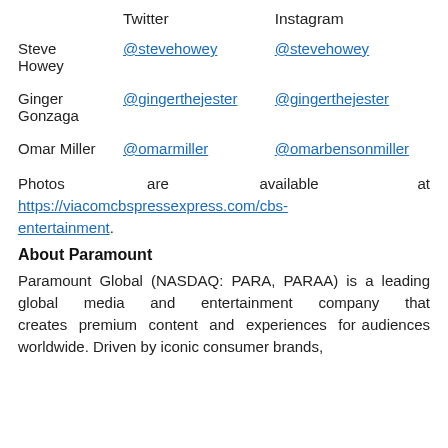|  | Twitter | Instagram |
| --- | --- | --- |
| Steve Howey | @stevehowey | @stevehowey |
| Ginger Gonzaga | @gingerthejester | @gingerthejester |
| Omar Miller | @omarmiller | @omarbensonmiller |
Photos are available at https://viacomcbspressexpress.com/cbs-entertainment.
About Paramount
Paramount Global (NASDAQ: PARA, PARAA) is a leading global media and entertainment company that creates premium content and experiences for audiences worldwide. Driven by iconic consumer brands,